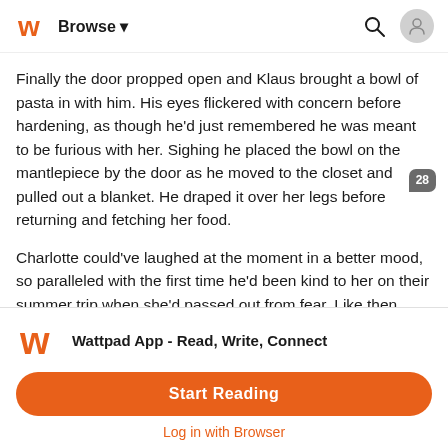Browse
Finally the door propped open and Klaus brought a bowl of pasta in with him. His eyes flickered with concern before hardening, as though he'd just remembered he was meant to be furious with her. Sighing he placed the bowl on the mantlepiece by the door as he moved to the closet and pulled out a blanket. He draped it over her legs before returning and fetching her food.
Charlotte could've laughed at the moment in a better mood, so paralleled with the first time he'd been kind to her on their summer trip when she'd passed out from fear. Like then, now they didn't talk, Charlotte's hands moving silently from beneath
Wattpad App - Read, Write, Connect
Start Reading
Log in with Browser